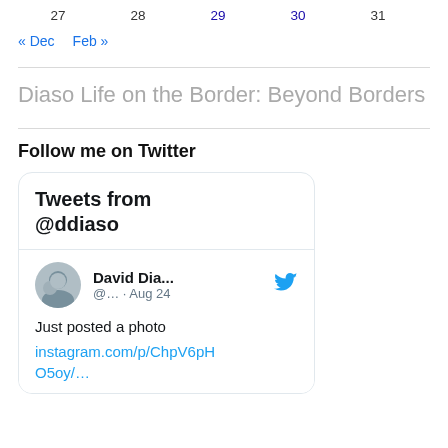| 27 | 28 | 29 | 30 | 31 |
« Dec   Feb »
Diaso Life on the Border: Beyond Borders
Follow me on Twitter
[Figure (screenshot): Twitter widget showing 'Tweets from @ddiaso' header and a tweet card from David Dia... (@... · Aug 24) saying 'Just posted a photo instagram.com/p/ChpV6pH O5oy/...' with a Twitter bird icon and circular profile photo]
Just posted a photo instagram.com/p/ChpV6pH O5oy/...